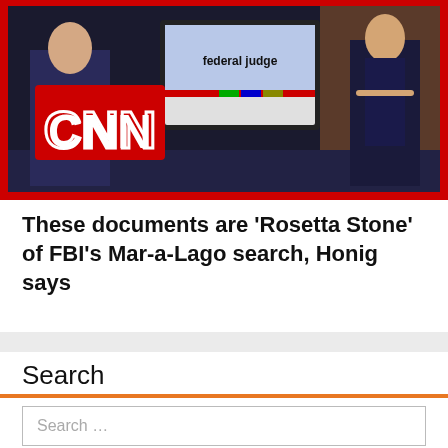[Figure (screenshot): CNN news broadcast screenshot showing two men in suits, a TV monitor with text 'federal judge', and the CNN logo with red border]
These documents are ‘Rosetta Stone’ of FBI’s Mar-a-Lago search, Honig says
Search
Search …